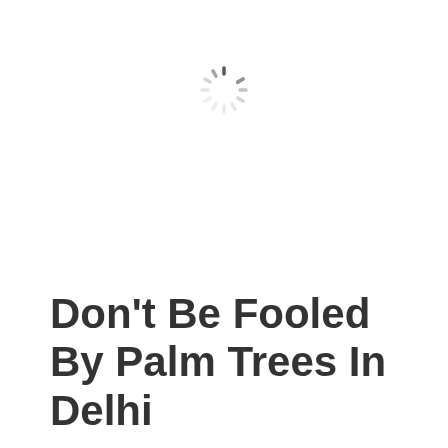[Figure (other): Loading spinner icon (circular dashed spinner graphic)]
Don't Be Fooled By Palm Trees In Delhi
By NDNS Team / 12/07/2019
Palm trees are not actually trees, they are in the grass family. Did you know that Palm Trees are not native to Delhi? You must have